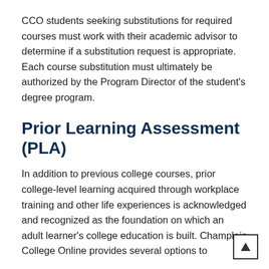CCO students seeking substitutions for required courses must work with their academic advisor to determine if a substitution request is appropriate. Each course substitution must ultimately be authorized by the Program Director of the student's degree program.
Prior Learning Assessment (PLA)
In addition to previous college courses, prior college-level learning acquired through workplace training and other life experiences is acknowledged and recognized as the foundation on which an adult learner's college education is built. Champlain College Online provides several options to